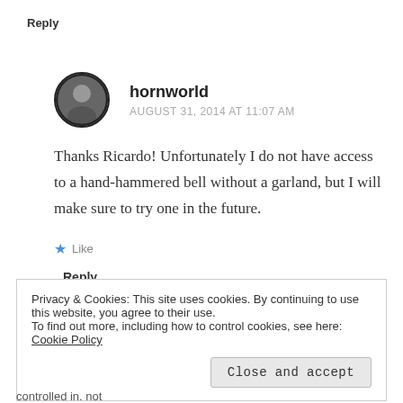Reply
hornworld
AUGUST 31, 2014 AT 11:07 AM
Thanks Ricardo! Unfortunately I do not have access to a hand-hammered bell without a garland, but I will make sure to try one in the future.
Like
Reply
Privacy & Cookies: This site uses cookies. By continuing to use this website, you agree to their use.
To find out more, including how to control cookies, see here: Cookie Policy
Close and accept
controlled in. not